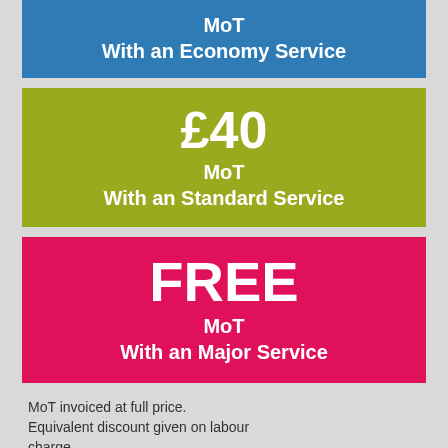MoT
With an Economy Service
£40
MoT
With an Standard Service
FREE
MoT
With an Major Service
MoT invoiced at full price. Equivalent discount given on labour charge.
Check your expiry date